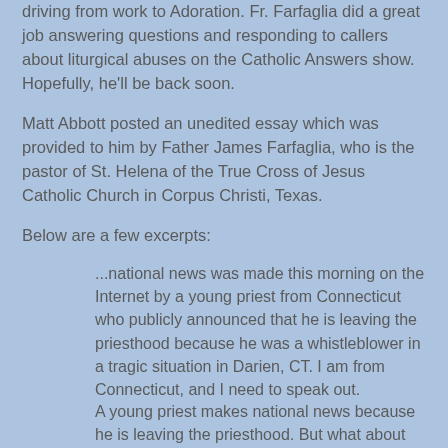driving from work to Adoration. Fr. Farfaglia did a great job answering questions and responding to callers about liturgical abuses on the Catholic Answers show. Hopefully, he'll be back soon.
Matt Abbott posted an unedited essay which was provided to him by Father James Farfaglia, who is the pastor of St. Helena of the True Cross of Jesus Catholic Church in Corpus Christi, Texas.
Below are a few excerpts:
...national news was made this morning on the Internet by a young priest from Connecticut who publicly announced that he is leaving the priesthood because he was a whistleblower in a tragic situation in Darien, CT. I am from Connecticut, and I need to speak out.
A young priest makes national news because he is leaving the priesthood. But what about the